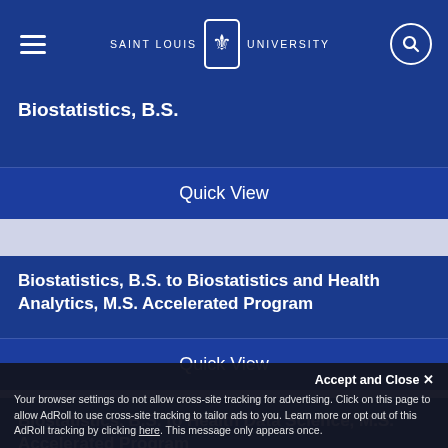SAINT LOUIS UNIVERSITY
Biostatistics, B.S.
Quick View
Biostatistics, B.S. to Biostatistics and Health Analytics, M.S. Accelerated Program
Quick View
Biostatistics, B.S. to Health Data Science, M.S. Accelerated Program
Quick View
Accept and Close ✕
Your browser settings do not allow cross-site tracking for advertising. Click on this page to allow AdRoll to use cross-site tracking to tailor ads to you. Learn more or opt out of this AdRoll tracking by clicking here. This message only appears once.